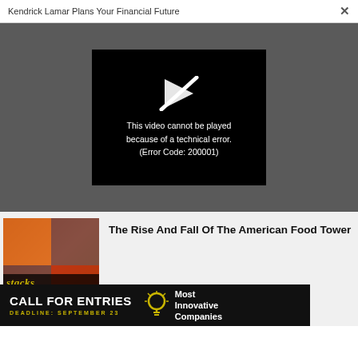Kendrick Lamar Plans Your Financial Future
[Figure (screenshot): Video player showing error: This video cannot be played because of a technical error. (Error Code: 200001)]
[Figure (photo): Book cover for 'stacks: The Art of Vertical Food' showing stacked food dishes]
The Rise And Fall Of The American Food Tower
[Figure (infographic): Advertisement banner: CALL FOR ENTRIES, DEADLINE: SEPTEMBER 23, Most Innovative Companies]